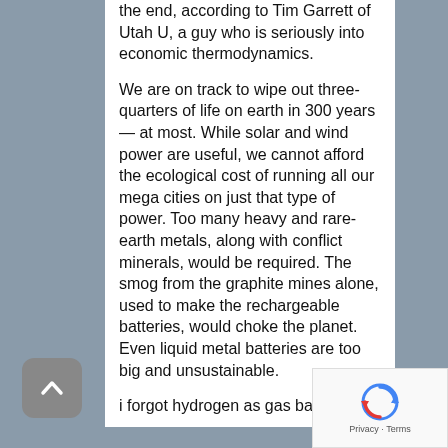the end, according to Tim Garrett of Utah U, a guy who is seriously into economic thermodynamics.
We are on track to wipe out three-quarters of life on earth in 300 years — at most. While solar and wind power are useful, we cannot afford the ecological cost of running all our mega cities on just that type of power. Too many heavy and rare-earth metals, along with conflict minerals, would be required. The smog from the graphite mines alone, used to make the rechargeable batteries, would choke the planet. Even liquid metal batteries are too big and unsustainable.
i forgot hydrogen as gas batteries